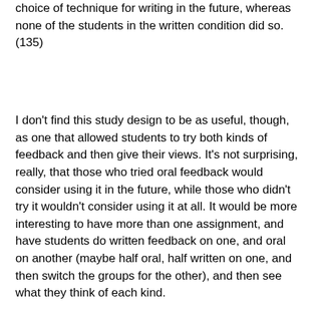choice of technique for writing in the future, whereas none of the students in the written condition did so. (135)
I don't find this study design to be as useful, though, as one that allowed students to try both kinds of feedback and then give their views. It's not surprising, really, that those who tried oral feedback would consider using it in the future, while those who didn't try it wouldn't consider using it at all. It would be more interesting to have more than one assignment, and have students do written feedback on one, and oral on another (maybe half oral, half written on one, and then switch the groups for the other), and then see what they think of each kind.